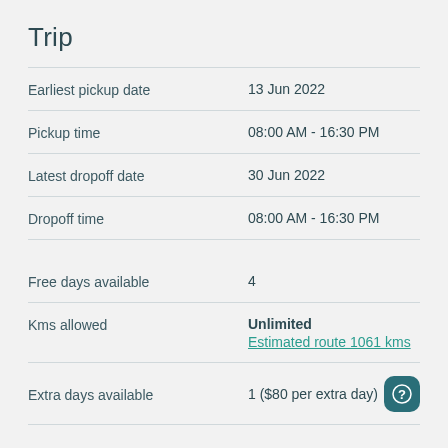Trip
| Field | Value |
| --- | --- |
| Earliest pickup date | 13 Jun 2022 |
| Pickup time | 08:00 AM - 16:30 PM |
| Latest dropoff date | 30 Jun 2022 |
| Dropoff time | 08:00 AM - 16:30 PM |
| Free days available | 4 |
| Kms allowed | Unlimited
Estimated route 1061 kms |
| Extra days available | 1 ($80 per extra day) |